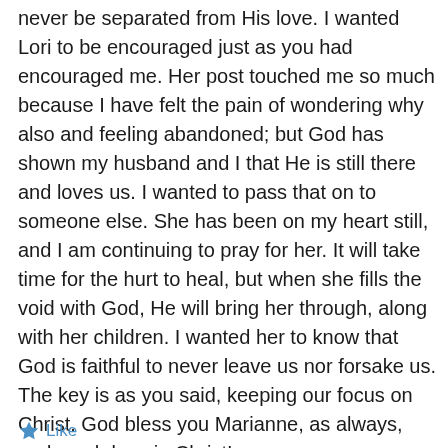never be separated from His love. I wanted Lori to be encouraged just as you had encouraged me. Her post touched me so much because I have felt the pain of wondering why also and feeling abandoned; but God has shown my husband and I that He is still there and loves us. I wanted to pass that on to someone else. She has been on my heart still, and I am continuing to pray for her. It will take time for the hurt to heal, but when she fills the void with God, He will bring her through, along with her children. I wanted her to know that God is faithful to never leave us nor forsake us. The key is as you said, keeping our focus on Christ. God bless you Marianne, as always, and much love in Christ!
Like